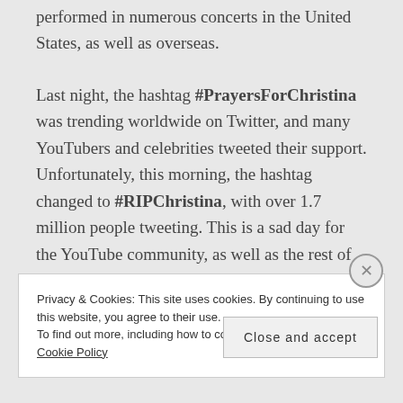performed in numerous concerts in the United States, as well as overseas.
Last night, the hashtag #PrayersForChristina was trending worldwide on Twitter, and many YouTubers and celebrities tweeted their support. Unfortunately, this morning, the hashtag changed to #RIPChristina, with over 1.7 million people tweeting. This is a sad day for the YouTube community, as well as the rest of the world, and many YouTubers, celebrities, and fans have
Privacy & Cookies: This site uses cookies. By continuing to use this website, you agree to their use.
To find out more, including how to control cookies, see here: Cookie Policy
Close and accept